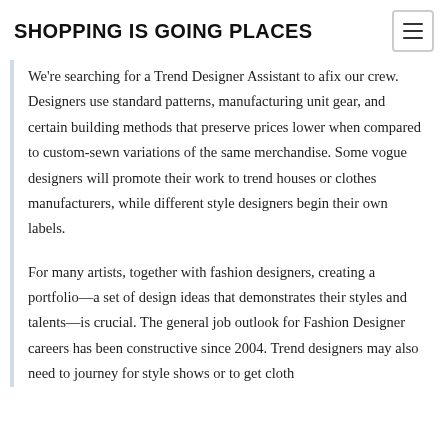SHOPPING IS GOING PLACES
We're searching for a Trend Designer Assistant to afix our crew. Designers use standard patterns, manufacturing unit gear, and certain building methods that preserve prices lower when compared to custom-sewn variations of the same merchandise. Some vogue designers will promote their work to trend houses or clothes manufacturers, while different style designers begin their own labels.
For many artists, together with fashion designers, creating a portfolio—a set of design ideas that demonstrates their styles and talents—is crucial. The general job outlook for Fashion Designer careers has been constructive since 2004. Trend designers may also need to journey for style shows or to get cloth